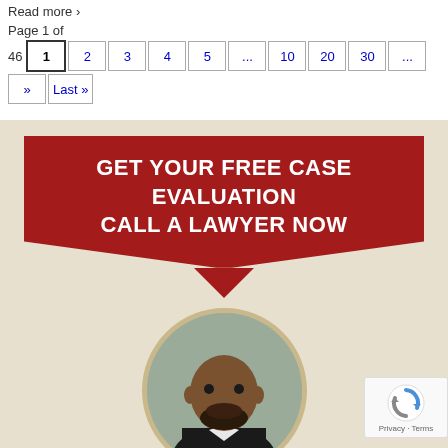Read more ›
Page 1 of 46
1 2 3 4 5 ... 10 20 30 ... » Last »
[Figure (infographic): Red banner advertisement: GET YOUR FREE CASE EVALUATION / CALL A LAWYER NOW with downward arrow, circular photo of lawyer Sanjay Minocha, TOP LAWYER badge, name, phone number (214) 761-3432, and REVIEWS/PROFILE link]
TOP LAWYER
Sanjay Minocha
Call Now: (214) 761-3432
REVIEWS/PROFILE ›